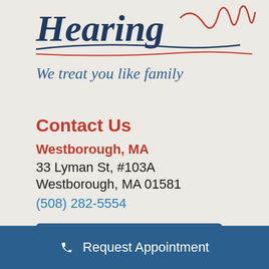[Figure (logo): Partial hearing clinic logo with decorative audio waveform lines in red and navy blue, showing partial word 'Hearing' in navy italic serif font at top]
We treat you like family
Contact Us
Westborough, MA
33 Lyman St, #103A
Westborough, MA 01581
(508) 282-5554
Get Directions
Request Appointment